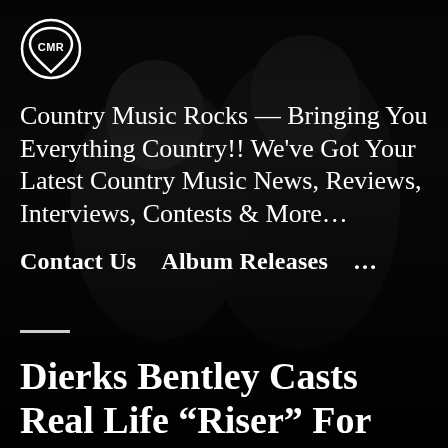[Figure (logo): CMR logo — a white circle with the letters CMR inside, shaped like a guitar pick, on a dark background]
Country Music Rocks — Bringing You Everything Country!! We've Got Your Latest Country Music News, Reviews, Interviews, Contests & More…
Contact Us   Album Releases   …
Dierks Bentley Casts Real Life “Riser” For